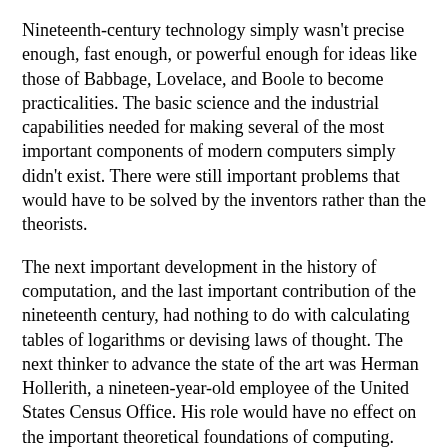Nineteenth-century technology simply wasn't precise enough, fast enough, or powerful enough for ideas like those of Babbage, Lovelace, and Boole to become practicalities. The basic science and the industrial capabilities needed for making several of the most important components of modern computers simply didn't exist. There were still important problems that would have to be solved by the inventors rather than the theorists.
The next important development in the history of computation, and the last important contribution of the nineteenth century, had nothing to do with calculating tables of logarithms or devising laws of thought. The next thinker to advance the state of the art was Herman Hollerith, a nineteen-year-old employee of the United States Census Office. His role would have no effect on the important theoretical foundations of computing. Ultimately, his invention became obsolete. But his small innovation eventually grew into the industry that later came to dominate the commercial use of computer technology.
Hollerith made the first important American contribution to the evolution of computation when his superior at the Census Office set him on a scheme for automating the collection and tabulation of data. On his superior's suggestion, he worked out a system that used cards with holes punched in them to feed information into an electrical-counting apparatus...